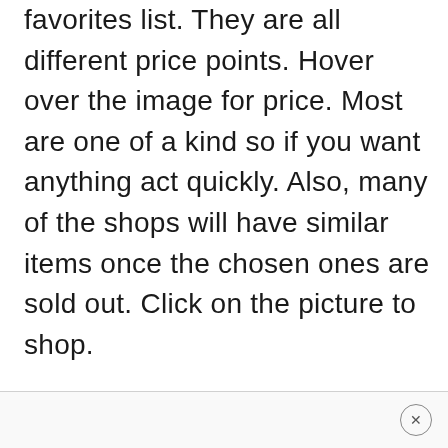favorites list. They are all different price points. Hover over the image for price. Most are one of a kind so if you want anything act quickly. Also, many of the shops will have similar items once the chosen ones are sold out. Click on the picture to shop.